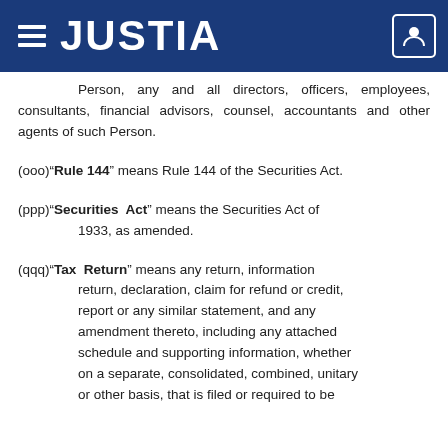JUSTIA
Person, any and all directors, officers, employees, consultants, financial advisors, counsel, accountants and other agents of such Person.
(ooo)“Rule 144” means Rule 144 of the Securities Act.
(ppp)“Securities Act” means the Securities Act of 1933, as amended.
(qqq)“Tax Return” means any return, information return, declaration, claim for refund or credit, report or any similar statement, and any amendment thereto, including any attached schedule and supporting information, whether on a separate, consolidated, combined, unitary or other basis, that is filed or required to be